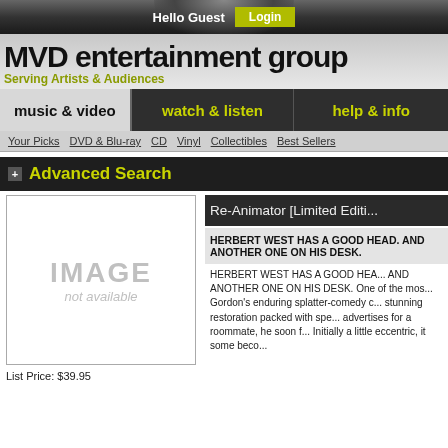Hello Guest  Login
MVD entertainment group
Serving Artists & Audiences
music & video   watch & listen   help & info
Your Picks
DVD & Blu-ray
CD
Vinyl
Collectibles
Best Sellers
Advanced Search
[Figure (other): IMAGE not available placeholder box]
List Price: $39.95
Re-Animator [Limited Editi...
HERBERT WEST HAS A GOOD HEAD. AND ANOTHER ONE ON HIS DESK.
HERBERT WEST HAS A GOOD HEAD. AND ANOTHER ONE ON HIS DESK. One of the most celebrated films in the genre, Stuart Gordon's enduring splatter-comedy classic arrives in a stunning restoration packed with special features. When West advertises for a roommate, he soon finds the perfect victim. Initially a little eccentric, it some becomes clear that the...